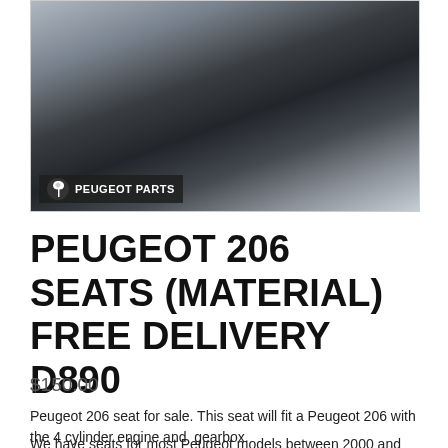[Figure (photo): Interior photo of Peugeot 206 car seats, showing front seats, steering wheel and dashboard area. A watermark overlay reads PEUGEOT PARTS with the Peugeot lion logo.]
PEUGEOT 206 SEATS (MATERIAL) FREE DELIVERY D890
$150.00
Peugeot 206 seat for sale. This seat will fit a Peugeot 206 with the 4 cylinder engine and  gearbox.
We have seats for most Peugeot models between 2000 and 2010. So even if this particular seat doesn't exactly match your